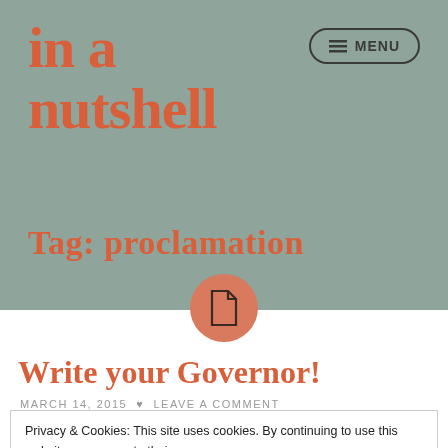in a nutshell
Tag: proclamation
[Figure (illustration): Document/page icon inside a salmon-colored circle, positioned at the boundary between header and content areas]
Write your Governor!
MARCH 14, 2015  ♥  LEAVE A COMMENT
Privacy & Cookies: This site uses cookies. By continuing to use this website, you agree to their use.
To find out more, including how to control cookies, see here: Cookie Policy
Close and accept
proclamation for Food Allergy Awareness Week.  (This